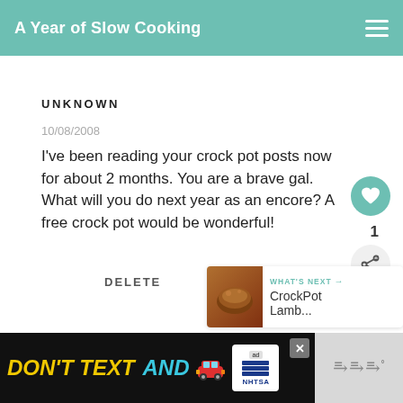A Year of Slow Cooking
UNKNOWN
10/08/2008
I've been reading your crock pot posts now for about 2 months. You are a brave gal. What will you do next year as an encore? A free crock pot would be wonderful!
DELETE
[Figure (infographic): What's Next panel with CrockPot Lamb... thumbnail and teal arrow label]
[Figure (infographic): Ad banner: DON'T TEXT AND with car emoji, ad badge, NHTSA logo, close button, and audio icon on right]